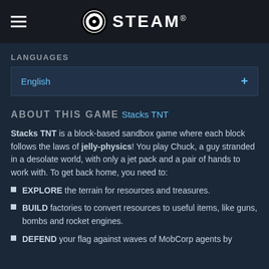STEAM
LANGUAGES
English +
ABOUT THIS GAME
Stacks TNT
Stacks TNT is a block-based sandbox game where each block follows the laws of jelly-physics! You play Chuck, a guy stranded in a desolate world, with only a jet pack and a pair of hands to work with. To get back home, you need to:
EXPLORE the terrain for resources and treasures.
BUILD factories to convert resources to useful items, like guns, bombs and rocket engines.
DEFEND your flag against waves of MobCorp agents by